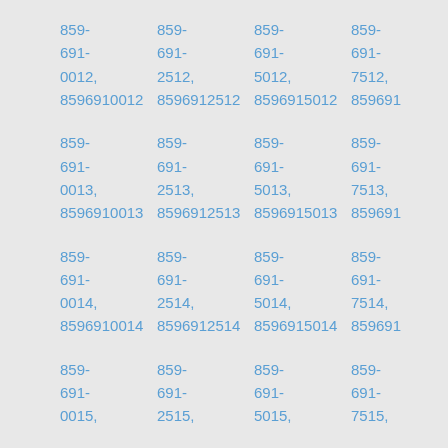859-691-0012, 8596910012
859-691-2512, 8596912512
859-691-5012, 8596915012
859-691-7512, 859691...
859-691-0013, 8596910013
859-691-2513, 8596912513
859-691-5013, 8596915013
859-691-7513, 859691...
859-691-0014, 8596910014
859-691-2514, 8596912514
859-691-5014, 8596915014
859-691-7514, 859691...
859-691-0015,
859-691-2515,
859-691-5015,
859-691-7515,